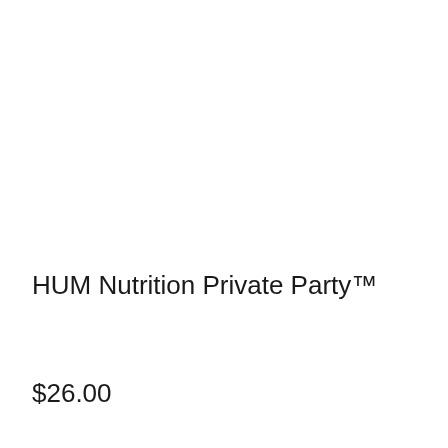HUM Nutrition Private Party™
$26.00